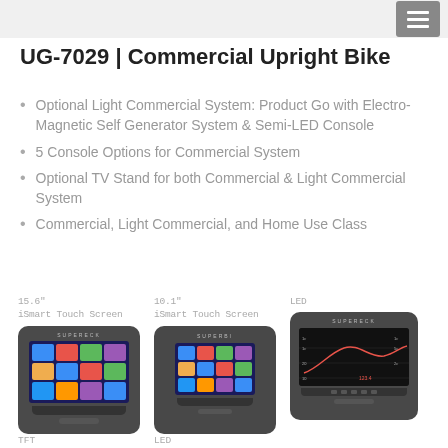UG-7029 | Commercial Upright Bike
Optional Light Commercial System: Product Go with Electro-Magnetic Self Generator System & Semi-LED Console
5 Console Options for Commercial System
Optional TV Stand for both Commercial & Light Commercial System
Commercial, Light Commercial, and Home Use Class
[Figure (photo): Three console options for the UG-7029 Commercial Upright Bike: 15.6" iSmart Touch Screen, 10.1" iSmart Touch Screen, and LED console. Each shown as a dark rounded console unit with respective display.]
TFT	LED